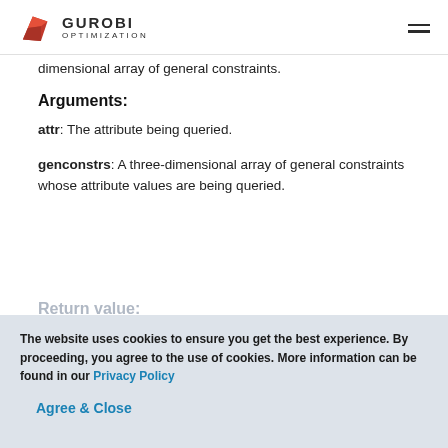GUROBI OPTIMIZATION
dimensional array of general constraints.
Arguments:
attr: The attribute being queried.
genconstrs: A three-dimensional array of general constraints whose attribute values are being queried.
Return value:
The website uses cookies to ensure you get the best experience. By proceeding, you agree to the use of cookies. More information can be found in our Privacy Policy
Agree & Close